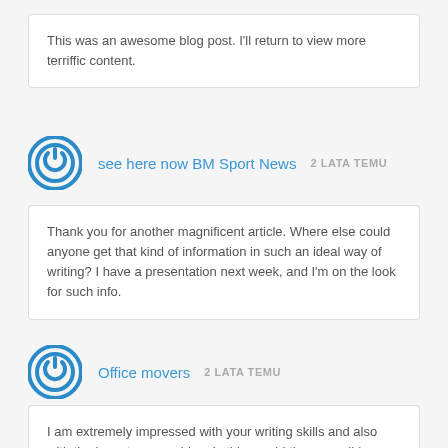This was an awesome blog post. I'll return to view more terriffic content.
see here now BM Sport News  2 LATA TEMU
Thank you for another magnificent article. Where else could anyone get that kind of information in such an ideal way of writing? I have a presentation next week, and I'm on the look for such info.
Office movers  2 LATA TEMU
I am extremely impressed with your writing skills and also with the layout on your blog. Is this a paid theme or did you customize it yourself? Either way keep up the excellent quality